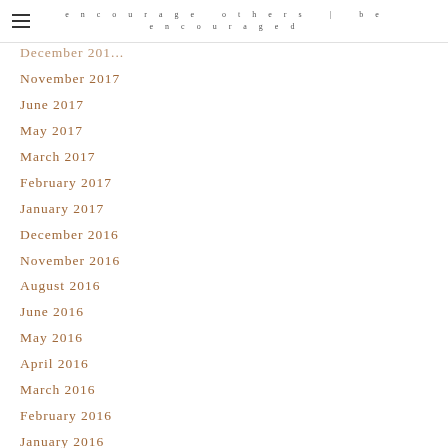encourage others | be encouraged
December 2017
November 2017
June 2017
May 2017
March 2017
February 2017
January 2017
December 2016
November 2016
August 2016
June 2016
May 2016
April 2016
March 2016
February 2016
January 2016